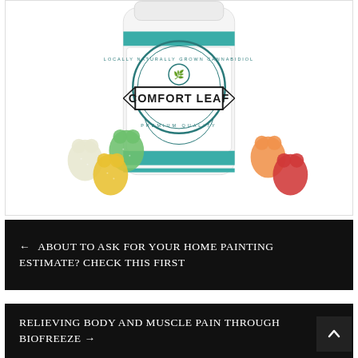[Figure (photo): White supplement bottle with 'Comfort Leaf' brand label featuring teal/blue circular badge design, surrounded by colorful gummy bear candies (white, green, yellow, orange, red) on a white background]
← ABOUT TO ASK FOR YOUR HOME PAINTING ESTIMATE? CHECK THIS FIRST
RELIEVING BODY AND MUSCLE PAIN THROUGH BIOFREEZE →